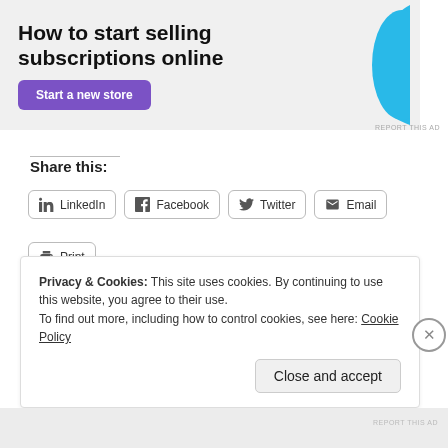[Figure (other): Advertisement banner with text 'How to start selling subscriptions online', a purple 'Start a new store' button, and a blue decorative blob shape on the right. Light gray background.]
REPORT THIS AD
Share this:
LinkedIn
Facebook
Twitter
Email
Print
Loading...
Privacy & Cookies: This site uses cookies. By continuing to use this website, you agree to their use.
To find out more, including how to control cookies, see here: Cookie Policy
Close and accept
REPORT THIS AD